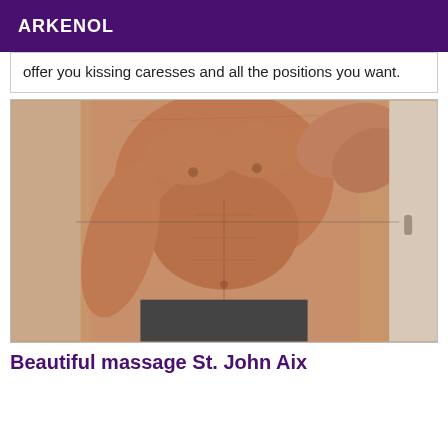ARKENOL
offer you kissing caresses and all the positions you want.
[Figure (photo): Photo of a shirtless muscular male torso]
Beautiful massage St. John Aix